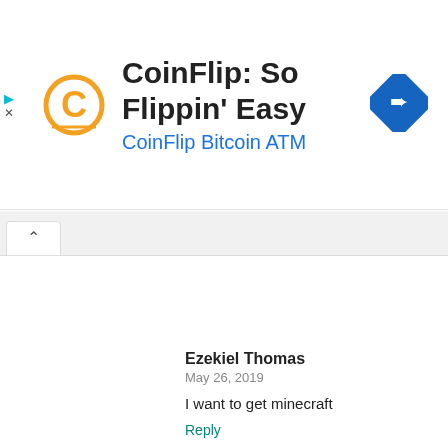[Figure (other): CoinFlip advertisement banner with logo (orange C letter), title 'CoinFlip: So Flippin' Easy', subtitle 'CoinFlip Bitcoin ATM', and a blue diamond navigation icon on the right]
Ezekiel Thomas
May 26, 2019

I want to get minecraft

Reply